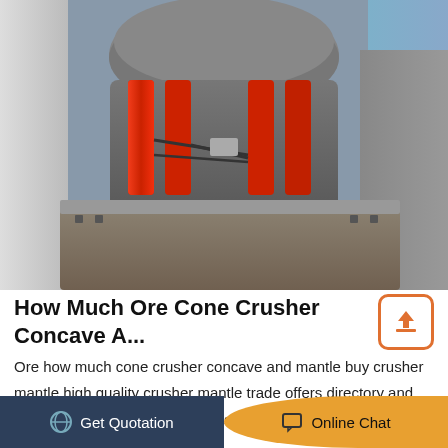[Figure (photo): Close-up photograph of an ore cone crusher machine showing the large grey cylindrical body with four red hydraulic cylinders and hoses, mounted on a grey steel base frame, with industrial buildings in the background.]
How Much Ore Cone Crusher Concave A...
Ore how much cone crusher concave and mantle buy crusher mantle high quality crusher mantle trade offers directory and crusher mantle ys color green use ore mining crusher model number cone crusher material.
Get Quotation   Online Chat